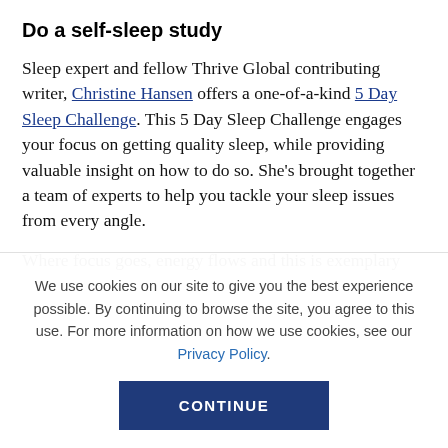Do a self-sleep study
Sleep expert and fellow Thrive Global contributing writer, Christine Hansen offers a one-of-a-kind 5 Day Sleep Challenge. This 5 Day Sleep Challenge engages your focus on getting quality sleep, while providing valuable insight on how to do so. She's brought together a team of experts to help you tackle your sleep issues from every angle.
Where focus goes, energy flows and this is exemplary
We use cookies on our site to give you the best experience possible. By continuing to browse the site, you agree to this use. For more information on how we use cookies, see our Privacy Policy.
CONTINUE